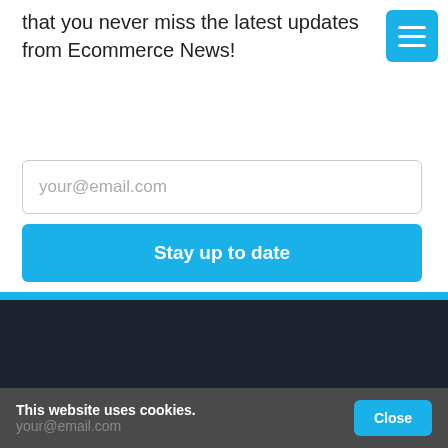Sign up for our weekly newsletter and make sure that you never miss the latest updates from Ecommerce News!
your@email.com
Stay up to date
Stay up to date
Receive our latest news directly in your mailbox, or follow us via social media to stay up to date.
This website uses cookies.
Close